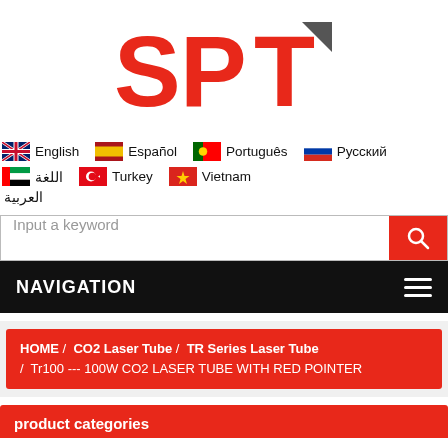[Figure (logo): SPT company logo in orange/red with grey geometric element]
English  Español  Português  Русский  اللغة العربية  Turkey  Vietnam
Input a keyword
NAVIGATION
HOME / CO2 Laser Tube / TR Series Laser Tube / Tr100 --- 100W CO2 LASER TUBE WITH RED POINTER
product categories